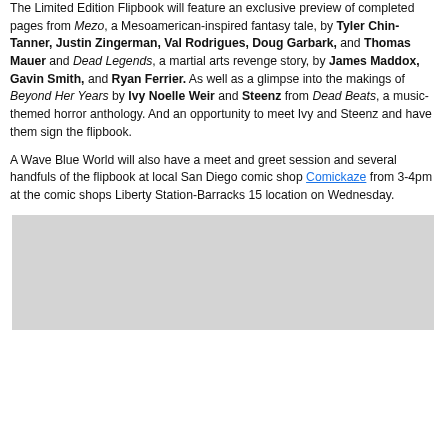The Limited Edition Flipbook will feature an exclusive preview of completed pages from Mezo, a Mesoamerican-inspired fantasy tale, by Tyler Chin-Tanner, Justin Zingerman, Val Rodrigues, Doug Garbark, and Thomas Mauer and Dead Legends, a martial arts revenge story, by James Maddox, Gavin Smith, and Ryan Ferrier. As well as a glimpse into the makings of Beyond Her Years by Ivy Noelle Weir and Steenz from Dead Beats, a music-themed horror anthology. And an opportunity to meet Ivy and Steenz and have them sign the flipbook.
A Wave Blue World will also have a meet and greet session and several handfuls of the flipbook at local San Diego comic shop Comickaze from 3-4pm at the comic shops Liberty Station-Barracks 15 location on Wednesday.
[Figure (photo): A light gray rectangular image placeholder at the bottom of the page.]